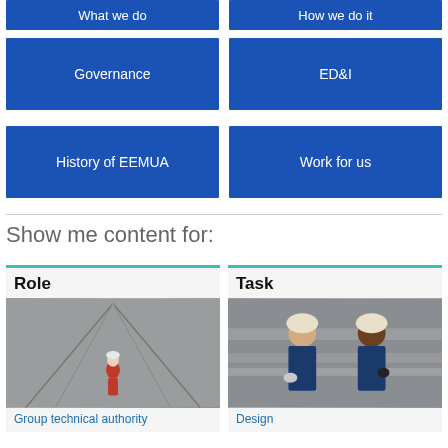[Figure (screenshot): Partially visible blue navigation buttons row (cropped at top): 'What we do' and 'How we do it']
[Figure (screenshot): Blue navigation button: Governance]
[Figure (screenshot): Blue navigation button: ED&I]
[Figure (screenshot): Blue navigation button: History of EEMUA]
[Figure (screenshot): Blue navigation button: Work for us]
Show me content for:
[Figure (photo): Card titled Role showing a worker in red overalls walking along an industrial corridor; link text: Group technical authority]
[Figure (photo): Card titled Task showing two workers in hard hats and safety gear at industrial pipework; link text: Design]